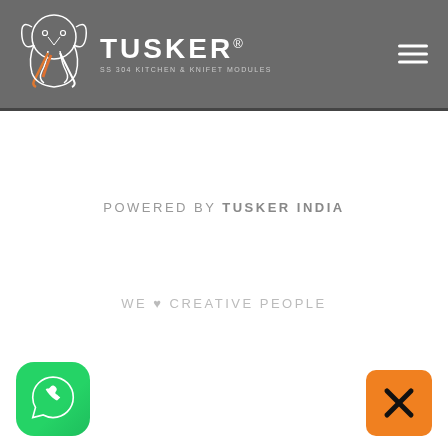[Figure (logo): Tusker brand logo with white elephant illustration and brand name TUSKER with tagline SS 304 KITCHEN & KNIFET MODULES on grey header background]
POWERED BY TUSKER INDIA
WE ♥ CREATIVE PEOPLE
[Figure (illustration): WhatsApp icon button - green rounded square with white phone/chat icon]
[Figure (illustration): Close/X button - orange rounded square with black X icon]